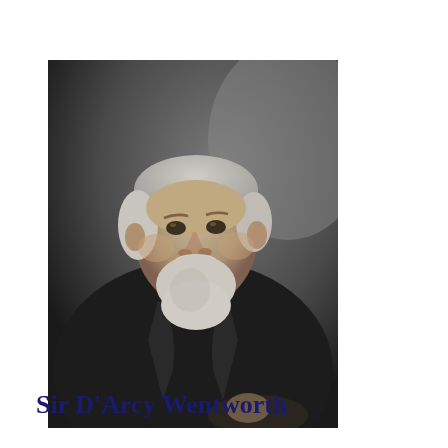[Figure (photo): Black and white portrait photograph of an elderly gentleman with white hair and a full white beard, wearing a dark suit jacket, seated and looking slightly to the left. The background is a muted, dark studio backdrop.]
Sir D'Arcy Wentworth